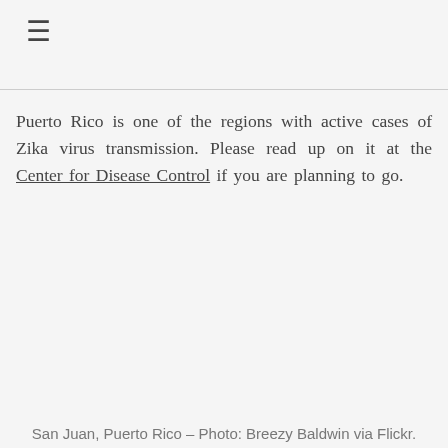☰
Puerto Rico is one of the regions with active cases of Zika virus transmission. Please read up on it at the Center for Disease Control if you are planning to go.
San Juan, Puerto Rico – Photo: Breezy Baldwin via Flickr.